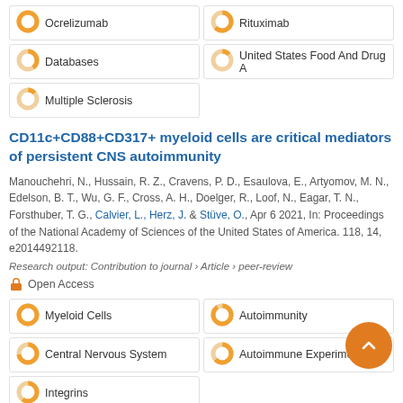Ocrelizumab (100%)
Rituximab (63%)
Databases (40%)
United States Food And Drug A... (13%)
Multiple Sclerosis (13%)
CD11c+CD88+CD317+ myeloid cells are critical mediators of persistent CNS autoimmunity
Manouchehri, N., Hussain, R. Z., Cravens, P. D., Esaulova, E., Artyomov, M. N., Edelson, B. T., Wu, G. F., Cross, A. H., Doelger, R., Loof, N., Eagar, T. N., Forsthuber, T. G., Calvier, L., Herz, J. & Stüve, O., Apr 6 2021, In: Proceedings of the National Academy of Sciences of the United States of America. 118, 14, e2014492118.
Research output: Contribution to journal › Article › peer-review
Open Access
Myeloid Cells (100%)
Autoimmunity (91%)
Central Nervous System (73%)
Autoimmune Experime... (63%)
Integrins (60%)